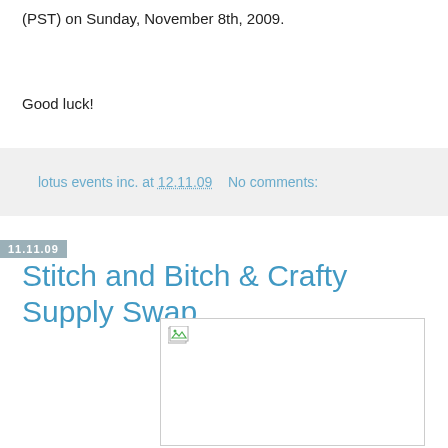(PST) on Sunday, November 8th, 2009.
Good luck!
lotus events inc. at 12.11.09   No comments:
11.11.09
Stitch and Bitch & Crafty Supply Swap
[Figure (photo): Broken image placeholder with white background and border]